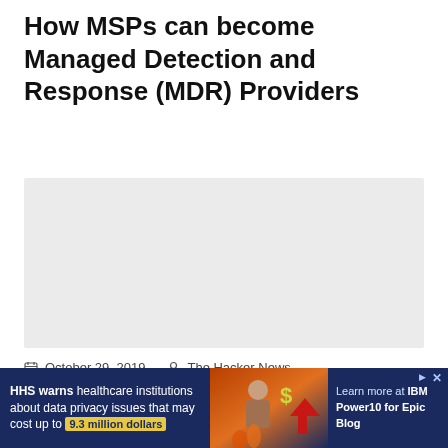How MSPs can become Managed Detection and Response (MDR) Providers
[Figure (photo): Light gray placeholder image area for article header image]
October 29, 2019   The Hacker News
aged detection and response (MDR) is one of the
[Figure (other): Advertisement banner: HHS warns healthcare institutions about data privacy issues that may cost up to 9.3 million dollars. IBM Power10 for Epic Blog ad with arrow icon.]